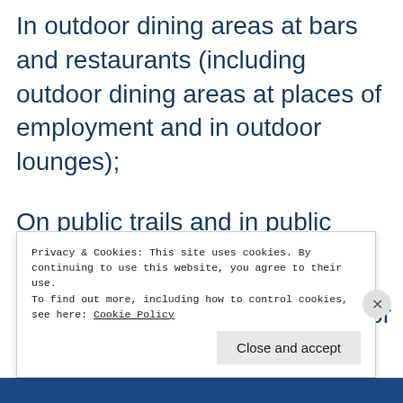In outdoor dining areas at bars and restaurants (including outdoor dining areas at places of employment and in outdoor lounges);
On public trails and in public parks;
In service areas. (Service area means an area used to receive or wait for a service, enter a public place or make a transaction, including ATM's, bank teller windows, ticket lines, bus stops and taxi stands.)
Privacy & Cookies: This site uses cookies. By continuing to use this website, you agree to their use.
To find out more, including how to control cookies, see here: Cookie Policy
Close and accept